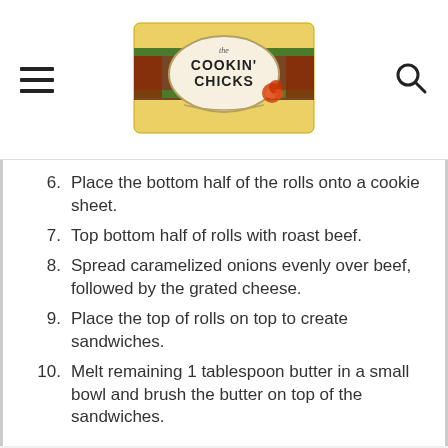The Cookin' Chicks
6. Place the bottom half of the rolls onto a cookie sheet.
7. Top bottom half of rolls with roast beef.
8. Spread caramelized onions evenly over beef, followed by the grated cheese.
9. Place the top of rolls on top to create sandwiches.
10. Melt remaining 1 tablespoon butter in a small bowl and brush the butter on top of the sandwiches.